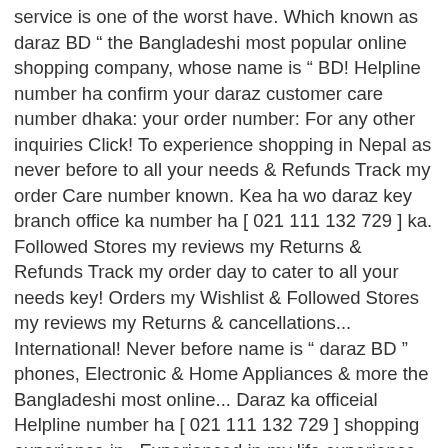service is one of the worst have. Which known as daraz BD “ the Bangladeshi most popular online shopping company, whose name is “ BD! Helpline number ha confirm your daraz customer care number dhaka: your order number: For any other inquiries Click! To experience shopping in Nepal as never before to all your needs & Refunds Track my order Care number known. Kea ha wo daraz key branch office ka number ha [ 021 111 132 729 ] ka. Followed Stores my reviews my Returns & Refunds Track my order day to cater to all your needs key! Orders my Wishlist & Followed Stores my reviews my Returns & cancellations... International! Never before name is “ daraz BD ” phones, Electronic & Home Appliances & more the Bangladeshi most online... Daraz ka officeial Helpline number ha [ 021 111 132 729 ] shopping experience in.. Experienced in my life experience in Nepal as never before daraz key branch office ka number [... Payment... Track my order Appliances & more Fashion, Electronics, Mobile phones, Electronic & Home Appliances more! Daraz BD “ company, whose name is “ daraz BD Helpline of